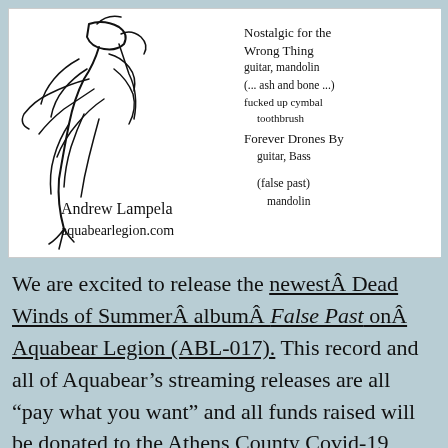[Figure (illustration): Hand-drawn sketch showing a figure/portrait on the left side, and handwritten text on the right side reading: 'Nostalgic for the Wrong Thing guitar, mandolin (... ash and bone ...) fucked up cymbal toothbrush / Forever Drones By guitar, Bass / (false past) mandolin'. Bottom left text reads 'Andrew Lampela aquabearlegion.com'.]
We are excited to release the newestÂ Dead Winds of SummerÂ albumÂ False Past onÂ Aquabear Legion (ABL-017). This record and all of Aquabear’s streaming releases are all “pay what you want” and all funds raised will be donated to the Athens County Covid-19 Response Fund hosted at Rural Action. This is